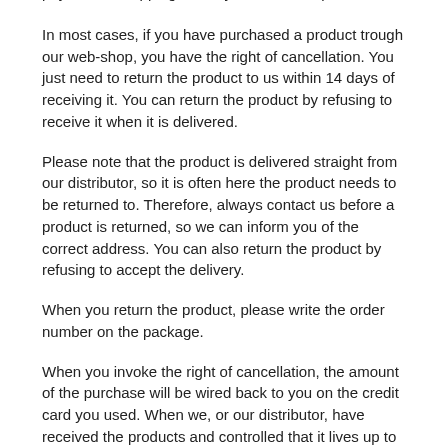payment of shipping, when you return the product.
In most cases, if you have purchased a product trough our web-shop, you have the right of cancellation. You just need to return the product to us within 14 days of receiving it. You can return the product by refusing to receive it when it is delivered.
Please note that the product is delivered straight from our distributor, so it is often here the product needs to be returned to. Therefore, always contact us before a product is returned, so we can inform you of the correct address. You can also return the product by refusing to accept the delivery.
When you return the product, please write the order number on the package.
When you invoke the right of cancellation, the amount of the purchase will be wired back to you on the credit card you used. When we, or our distributor, have received the products and controlled that it lives up to the conditions in a cancellation, the amount of the purchase will be returned. Please note that we do not receive packages sent cash on delivery (COD).
Claim
If you have sent a product in a claim, you will always receive an e-mail when we have received the product. In the e-mail you will be informed